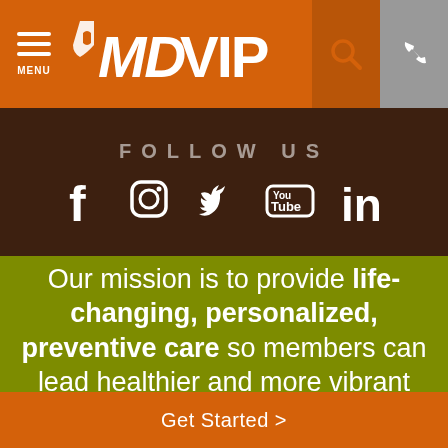[Figure (logo): MDVIP logo with menu icon, search and phone icons in orange navigation bar]
[Figure (infographic): Dark brown social media bar with FOLLOW US text and icons for Facebook, Instagram, Twitter, YouTube, LinkedIn]
Our mission is to provide life-changing, personalized, preventive care so members can lead healthier and more vibrant lives.
Get Started >